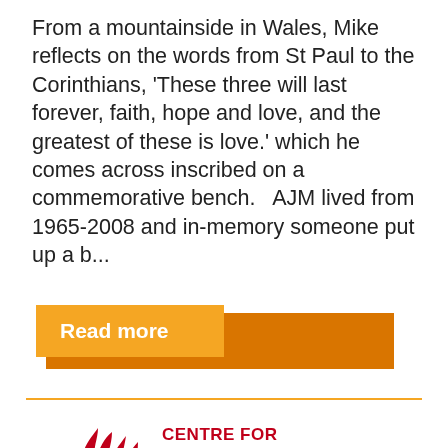From a mountainside in Wales, Mike reflects on the words from St Paul to the Corinthians, 'These three will last forever, faith, hope and love, and the greatest of these is love.' which he comes across inscribed on a commemorative bench.   AJM lived from 1965-2008 and in-memory someone put up a b...
Read more
[Figure (logo): Centre for Chaplaincy in Education logo — a flame icon with hands in dark red/orange gradient, alongside bold red text reading CENTRE FOR CHAPLAINCY IN EDUCATION]